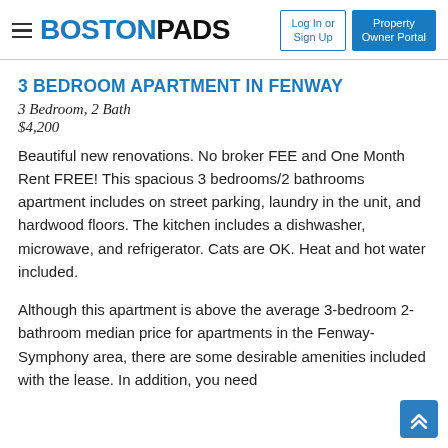BOSTONPADS — Log In or Sign Up | Property Owner Portal
3 BEDROOM APARTMENT IN FENWAY
3 Bedroom, 2 Bath
$4,200
Beautiful new renovations. No broker FEE and One Month Rent FREE! This spacious 3 bedrooms/2 bathrooms apartment includes on street parking, laundry in the unit, and hardwood floors. The kitchen includes a dishwasher, microwave, and refrigerator. Cats are OK. Heat and hot water included.
Although this apartment is above the average 3-bedroom 2-bathroom median price for apartments in the Fenway- Symphony area, there are some desirable amenities included with the lease. In addition, you need